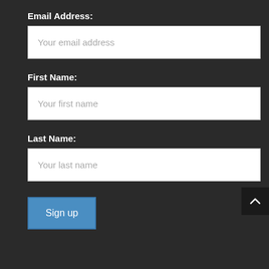Email Address:
Your email address
First Name:
Your first name
Last Name:
Your last name
Sign up